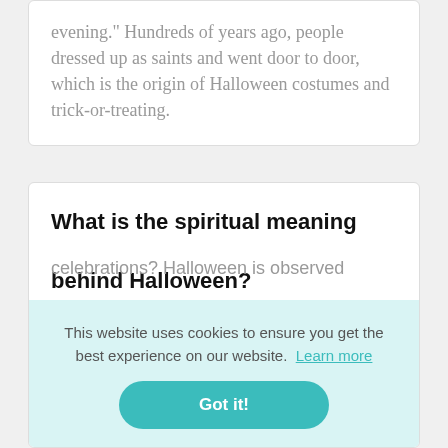evening." Hundreds of years ago, people dressed up as saints and went door to door, which is the origin of Halloween costumes and trick-or-treating.
What is the spiritual meaning behind Halloween?
This website uses cookies to ensure you get the best experience on our website.  Learn more
Got it!
celebrations? Halloween is observed